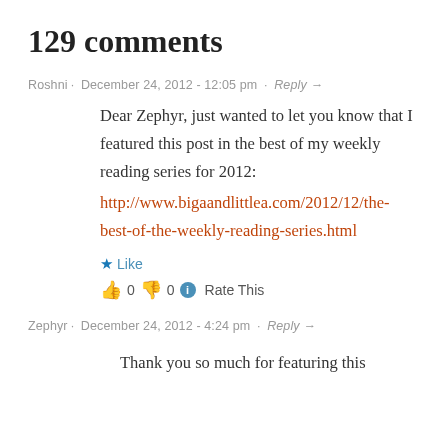129 comments
Roshni · December 24, 2012 - 12:05 pm · Reply →
Dear Zephyr, just wanted to let you know that I featured this post in the best of my weekly reading series for 2012: http://www.bigaandlittlea.com/2012/12/the-best-of-the-weekly-reading-series.html
★ Like
👍 0 👎 0 ℹ Rate This
Zephyr · December 24, 2012 - 4:24 pm · Reply →
Thank you so much for featuring this